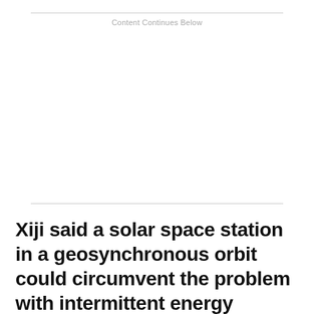Content Continues Below
Xiji said a solar space station in a geosynchronous orbit could circumvent the problem with intermittent energy production on Earth, which must contend with nighttime and